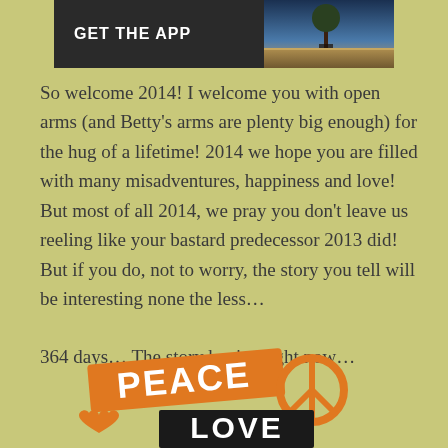[Figure (screenshot): Dark banner with 'GET THE APP' text on left and a tree/landscape photo on right]
So welcome 2014! I welcome you with open arms (and Betty's arms are plenty big enough) for the hug of a lifetime! 2014 we hope you are filled with many misadventures, happiness and love! But most of all 2014, we pray you don't leave us reeling like your bastard predecessor 2013 did! But if you do, not to worry, the story you tell will be interesting none the less…
364 days… The story begins right now…
[Figure (illustration): Peace and Love graphic with orange and black lettering, peace symbol, and heart]